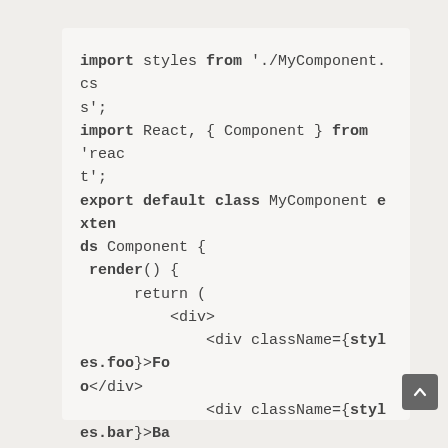import styles from './MyComponent.css';
import React, { Component } from 'react';
export default class MyComponent extends Component {
  render() {
      return (
          <div>
              <div className={styles.foo}>Foo</div>
              <div className={styles.bar}>Bar</div>
          </div>
      );
  }
}